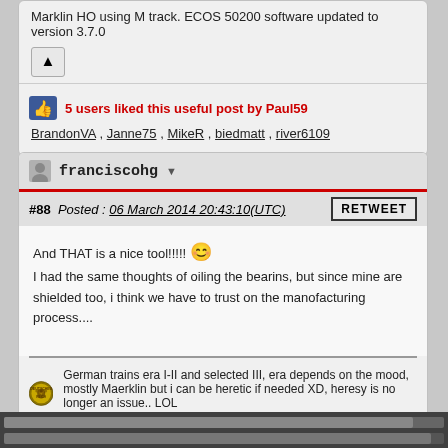Marklin HO using M track. ECOS 50200 software updated to version 3.7.0
5 users liked this useful post by Paul59
BrandonVA , Janne75 , MikeR , biedmatt , river6109
franciscohg
#88  Posted : 06 March 2014 20:43:10(UTC)
And THAT is a nice tool!!!!!
I had the same thoughts of oiling the bearins, but since mine are shielded too, i think we have to trust on the manofacturing process....
German trains era I-II and selected III, era depends on the mood, mostly Maerklin but i can be heretic if needed XD, heresy is no longer an issue.. LOL